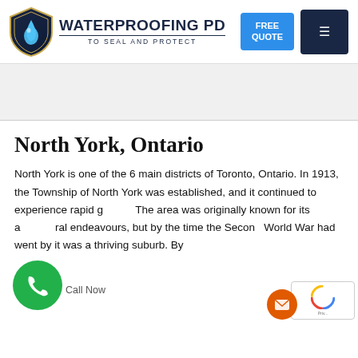[Figure (logo): Waterproofing PD logo: shield with water drop, brand name WATERPROOFING PD, tagline TO SEAL AND PROTECT]
North York, Ontario
North York is one of the 6 main districts of Toronto, Ontario. In 1913, the Township of North York was established, and it continued to experience rapid g... The area was originally known for its a...ural endeavours, but by the time the Secon... World War had went by it was a thriving suburb. By